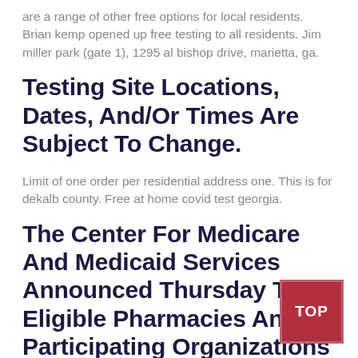are a range of other free options for local residents. Brian kemp opened up free testing to all residents. Jim miller park (gate 1), 1295 al bishop drive, marietta, ga.
Testing Site Locations, Dates, And/Or Times Are Subject To Change.
Limit of one order per residential address one. This is for dekalb county. Free at home covid test georgia.
The Center For Medicare And Medicaid Services Announced Thursday That Eligible Pharmacies And Participating Organizations Will Begin Distributing The Tests In The
[Figure (other): Red square button with white text reading TOP]